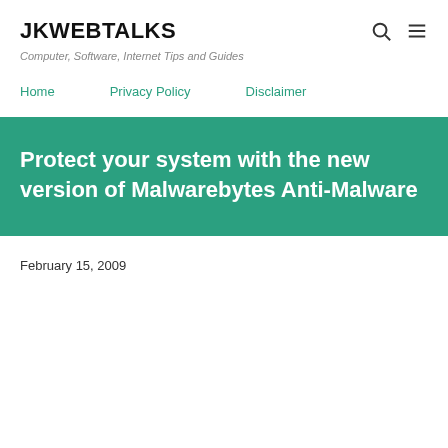JKWEBTALKS
Computer, Software, Internet Tips and Guides
Home   Privacy Policy   Disclaimer
Protect your system with the new version of Malwarebytes Anti-Malware
February 15, 2009